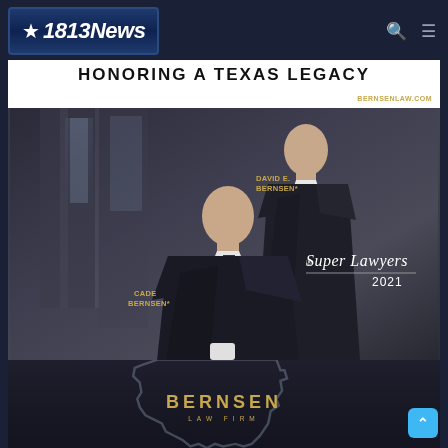★1813News
[Figure (photo): Advertisement for Bernsen Law Firm featuring two men in dark suits against a dark background. Text overlay reads 'HONORING A TEXAS LEGACY', 'BERNSENLAW.COM', 'DAVID E. BERNSEN*', 'CADE BERNSEN*', 'Super Lawyers 2021', and the Bernsen Law Firm logo with Texas state outline.]
*Selected to Super Lawyers